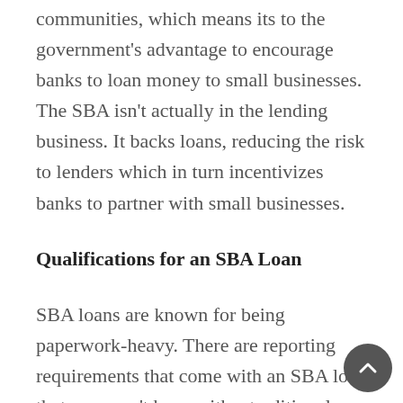communities, which means its to the government's advantage to encourage banks to loan money to small businesses. The SBA isn't actually in the lending business. It backs loans, reducing the risk to lenders which in turn incentivizes banks to partner with small businesses.
Qualifications for an SBA Loan
SBA loans are known for being paperwork-heavy. There are reporting requirements that come with an SBA loan that you won't have with a traditional loan. However, the favorable rates and terms generally offset these issues. Saving thousands of dollars in